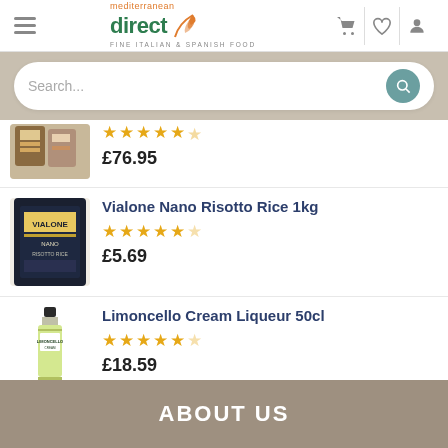[Figure (logo): Mediterranean Direct logo with orange leaf and tagline 'Fine Italian & Spanish Food']
Search...
[Figure (photo): Partial product image, cropped at top]
£76.95
Vialone Nano Risotto Rice 1kg
£5.69
Limoncello Cream Liqueur 50cl
£18.59
ABOUT US